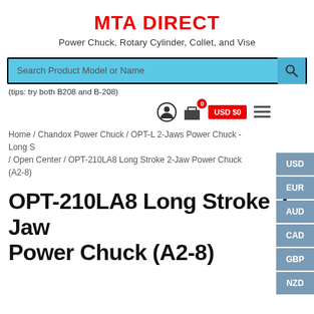MTA DIRECT
Power Chuck, Rotary Cylinder, Collet, and Vise
Search Product Model or Name
(tips: try both B208 and B-208)
USD
EUR
AUD
CAD
GBP
NZD
USD $0
Home / Chandox Power Chuck / OPT-L 2-Jaws Power Chuck - Long S / Open Center / OPT-210LA8 Long Stroke 2-Jaw Power Chuck (A2-8)
OPT-210LA8 Long Stroke 2-Jaw Power Chuck (A2-8)